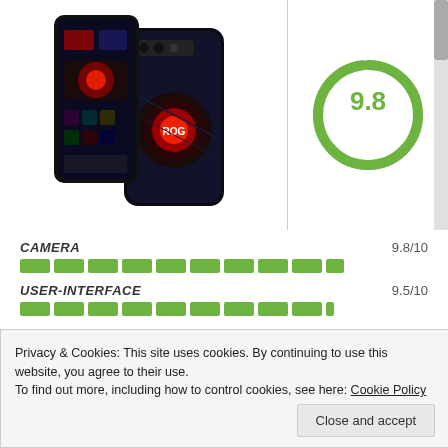[Figure (photo): ASUS ROG Phone 3 smartphone shown from front and back, with gaming design and RGB lighting]
[Figure (donut-chart): Donut chart showing score 9.8 out of 10 in green]
CAMERA 9.8/10
USER-INTERFACE 9.5/10
CONNECTIVITY 9.8/10
Privacy & Cookies: This site uses cookies. By continuing to use this website, you agree to their use.
To find out more, including how to control cookies, see here: Cookie Policy
Close and accept